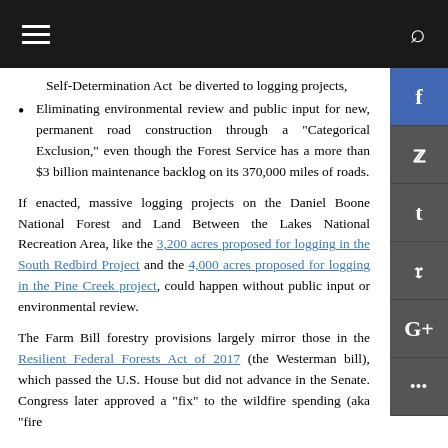Navigation bar with hamburger menu and search icon
Self-Determination Act  be diverted to logging projects,
Eliminating environmental review and public input for new, permanent road construction through a "Categorical Exclusion," even though the Forest Service has a more than $3 billion maintenance backlog on its 370,000 miles of roads.
If enacted, massive logging projects on the Daniel Boone National Forest and Land Between the Lakes National Recreation Area, like the 3,200 acres proposed for logging in the S... Redbird Project and the 4,000 acres proposed for logging in the Pine Creek project, could happen without public input or environmental review.
The Farm Bill forestry provisions largely mirror those in the Resilient Federal Forests Act of 2017 (the Westerman bill), which passed the U.S. House but did not advance in the Senate. Congress later approved a "fix" to the wildfire spending (aka "fire